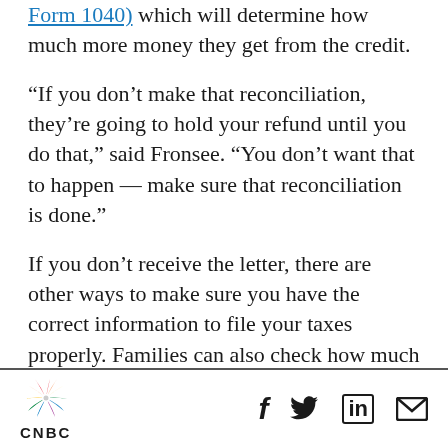Form 1040) which will determine how much more money they get from the credit.
“If you don’t make that reconciliation, they’re going to hold your refund until you do that,” said Fronsee. “You don’t want that to happen — make sure that reconciliation is done.”
If you don’t receive the letter, there are other ways to make sure you have the correct information to file your taxes properly. Families can also check how much they’ve received through the advanced child tax credit payments using the IRS CTC update portal.
CNBC | Social icons: Facebook, Twitter, LinkedIn, Email